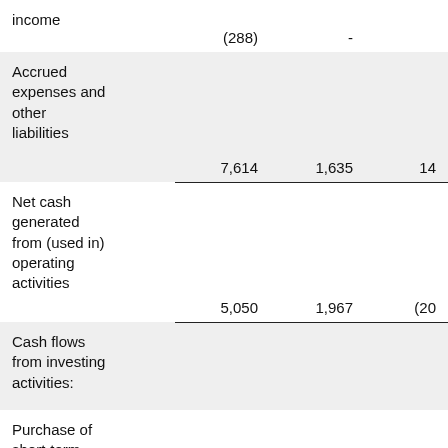|  |  |  |  |
| --- | --- | --- | --- |
| income | (288) | - |  |
| Accrued expenses and other liabilities | 7,614 | 1,635 | 14 |
| Net cash generated from (used in) operating activities | 5,050 | 1,967 | (20 |
| Cash flows from investing activities: |  |  |  |
| Purchase of short-term investments | (71,818) | (297,587) | (504 |